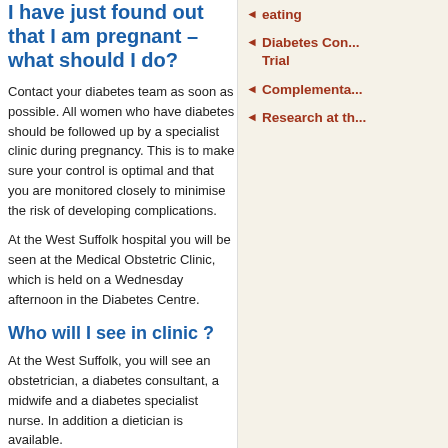I have just found out that I am pregnant – what should I do?
Contact your diabetes team as soon as possible. All women who have diabetes should be followed up by a specialist clinic during pregnancy. This is to make sure your control is optimal and that you are monitored closely to minimise the risk of developing complications.
At the West Suffolk hospital you will be seen at the Medical Obstetric Clinic, which is held on a Wednesday afternoon in the Diabetes Centre.
Who will I see in clinic ?
At the West Suffolk, you will see an obstetrician, a diabetes consultant, a midwife and a diabetes specialist nurse. In addition a dietician is available.
What will happen at my first appointment?
Ideally, you will have received pre-pregnancy counselling and much of the following will already have been done.
eating
Diabetes Cont... Trial
Complementa...
Research at th...